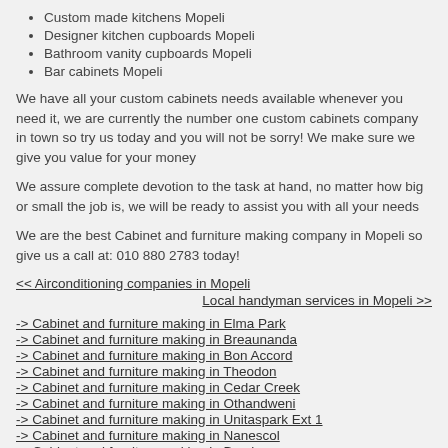Custom made kitchens Mopeli
Designer kitchen cupboards Mopeli
Bathroom vanity cupboards Mopeli
Bar cabinets Mopeli
We have all your custom cabinets needs available whenever you need it, we are currently the number one custom cabinets company in town so try us today and you will not be sorry! We make sure we give you value for your money
We assure complete devotion to the task at hand, no matter how big or small the job is, we will be ready to assist you with all your needs
We are the best Cabinet and furniture making company in Mopeli so give us a call at: 010 880 2783 today!
<< Airconditioning companies in Mopeli   Local handyman services in Mopeli >>
-> Cabinet and furniture making in Elma Park
-> Cabinet and furniture making in Breaunanda
-> Cabinet and furniture making in Bon Accord
-> Cabinet and furniture making in Theodon
-> Cabinet and furniture making in Cedar Creek
-> Cabinet and furniture making in Othandweni
-> Cabinet and furniture making in Unitaspark Ext 1
-> Cabinet and furniture making in Nanescol
-> Cabinet and furniture making in Berslow